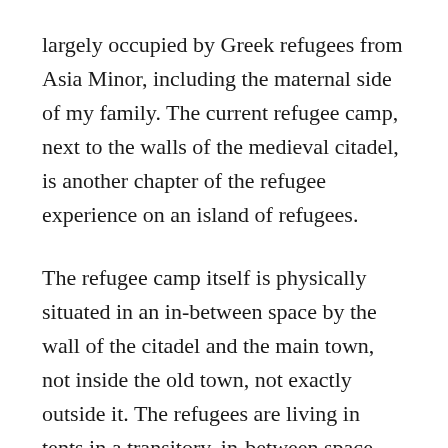largely occupied by Greek refugees from Asia Minor, including the maternal side of my family. The current refugee camp, next to the walls of the medieval citadel, is another chapter of the refugee experience on an island of refugees.
The refugee camp itself is physically situated in an in-between space by the wall of the citadel and the main town, not inside the old town, not exactly outside it. The refugees are living in tents in a transitory, in-between space.
The camp is also next to the town's main square and its small park, which refugees use as a more